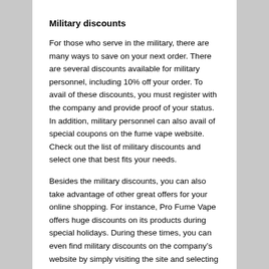Military discounts
For those who serve in the military, there are many ways to save on your next order. There are several discounts available for military personnel, including 10% off your order. To avail of these discounts, you must register with the company and provide proof of your status. In addition, military personnel can also avail of special coupons on the fume vape website. Check out the list of military discounts and select one that best fits your needs.
Besides the military discounts, you can also take advantage of other great offers for your online shopping. For instance, Pro Fume Vape offers huge discounts on its products during special holidays. During these times, you can even find military discounts on the company’s website by simply visiting the site and selecting a coupon code. You can also get free delivery and other freebies with your order, if you are a military member.
Coupons